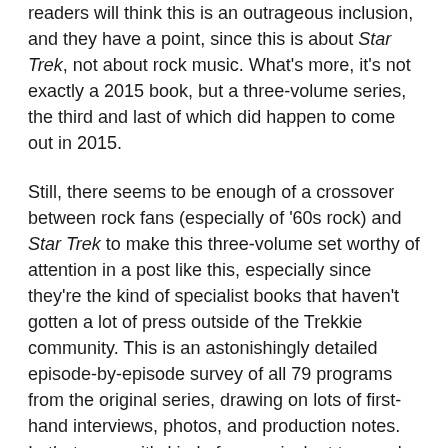readers will think this is an outrageous inclusion, and they have a point, since this is about Star Trek, not about rock music. What's more, it's not exactly a 2015 book, but a three-volume series, the third and last of which did happen to come out in 2015.
Still, there seems to be enough of a crossover between rock fans (especially of '60s rock) and Star Trek to make this three-volume set worthy of attention in a post like this, especially since they're the kind of specialist books that haven't gotten a lot of press outside of the Trekkie community. This is an astonishingly detailed episode-by-episode survey of all 79 programs from the original series, drawing on lots of first-hand interviews, photos, and production notes. In that sense, it's kind of an equivalent to a rock book like Mark Lewisohn's The Beatles Recording Sessions, giving even experts their first real play-by-play look at what happened behind the scenes. As the three volumes add up to a total of 2000 (!) pages, it's not for the casual reader, or even the casual Trekkie. But while